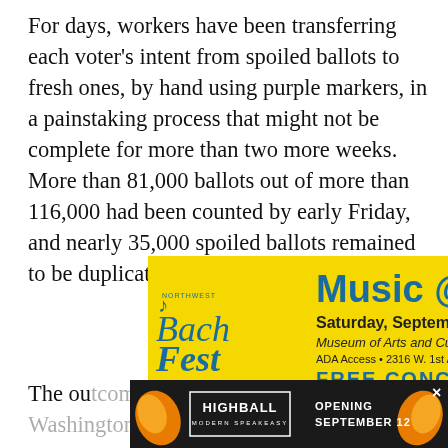For days, workers have been transferring each voter's intent from spoiled ballots to fresh ones, by hand using purple markers, in a painstaking process that might not be complete for more than two more weeks. More than 81,000 ballots out of more than 116,000 had been counted by early Friday, and nearly 35,000 spoiled ballots remained to be duplicated, according to county tallies.
[Figure (other): Advertisement for Music @ the MAC — Northwest BachFest, Saturday September 10 5PM, Museum of Arts and Culture Amphitheater, ADA Access, 2316 W. 1st Ave. in Spokane, FREE CONCERT. Yellow background with blue text.]
The ou[tcome will determine who wins Washington's 5th Congressional District…] [text continues off page] en-
[Figure (other): Advertisement for Highball Modern Speakeasy, Opening September 12. Dark background with decorative cocktail glass imagery.]